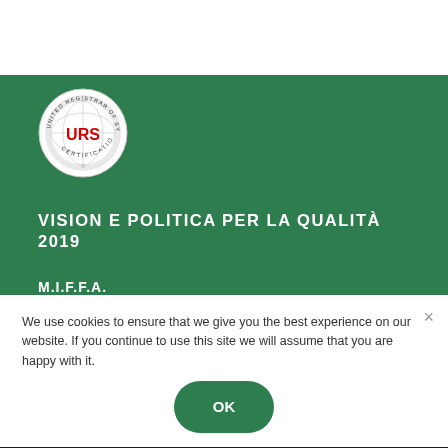[Figure (logo): URS United Registrar of Systems Certification circular logo with globe graphic and red URS letters]
VISION E POLITICA PER LA QUALITÀ 2019
M.I.F.F.A.
ITALY
Headquarter – Geno
Via XX Settembre, 37/8
We use cookies to ensure that we give you the best experience on our website. If you continue to use this site we will assume that you are happy with it.